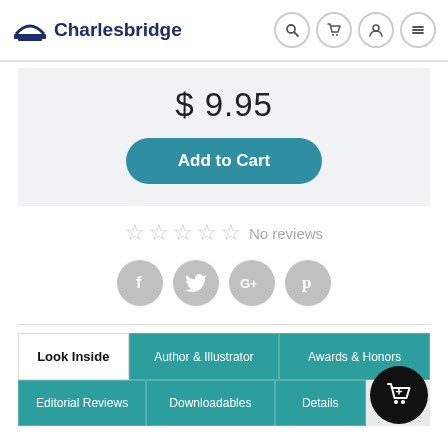Charlesbridge
$ 9.95
Add to Cart
No reviews
Look Inside
Author & Illustrator
Awards & Honors
Editorial Reviews
Downloadables
Details